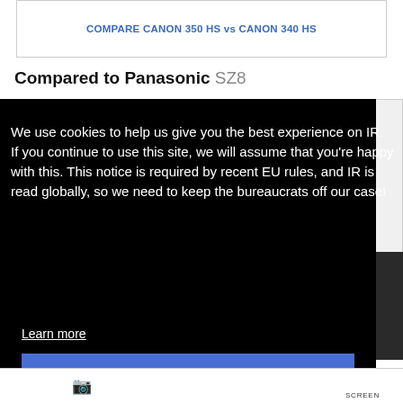COMPARE CANON 350 HS vs CANON 340 HS
Compared to Panasonic SZ8
We use cookies to help us give you the best experience on IR. If you continue to use this site, we will assume that you're happy with this. This notice is required by recent EU rules, and IR is read globally, so we need to keep the bureaucrats off our case!
Learn more
Got it!